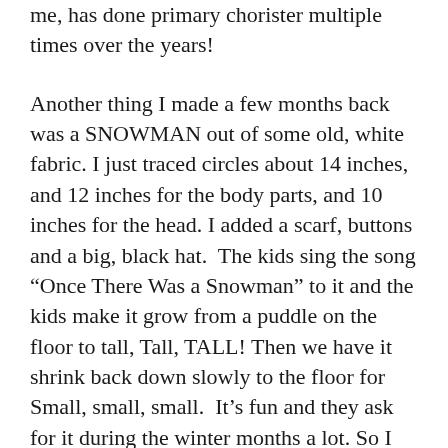me, has done primary chorister multiple times over the years!
Another thing I made a few months back was a SNOWMAN out of some old, white fabric. I just traced circles about 14 inches, and 12 inches for the body parts, and 10 inches for the head. I added a scarf, buttons and a big, black hat.  The kids sing the song “Once There Was a Snowman” to it and the kids make it grow from a puddle on the floor to tall, Tall, TALL! Then we have it shrink back down slowly to the floor for Small, small, small.  It’s fun and they ask for it during the winter months a lot. So I just keep it folded in my Primary Bag. Here’s what it looks like.